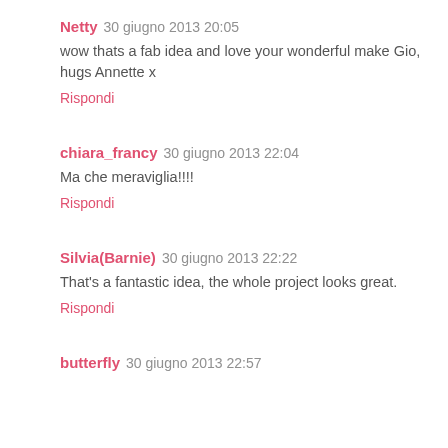Netty 30 giugno 2013 20:05
wow thats a fab idea and love your wonderful make Gio, hugs Annette x
Rispondi
chiara_francy 30 giugno 2013 22:04
Ma che meraviglia!!!!
Rispondi
Silvia(Barnie) 30 giugno 2013 22:22
That's a fantastic idea, the whole project looks great.
Rispondi
butterfly 30 giugno 2013 22:57